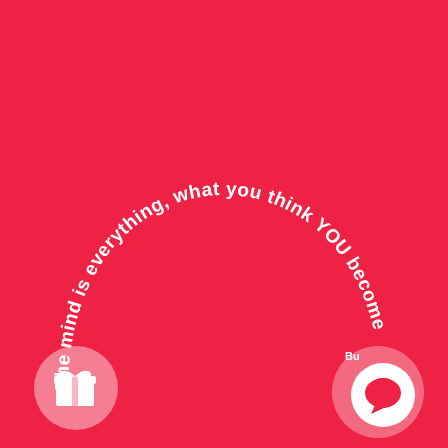[Figure (illustration): Red background with curved text along a U-shaped arc reading 'The mind is everything, what you think YOU become' in white bold font. Bottom left has a circular gift icon button, bottom right has a circular speech bubble icon button with a smaller 'Bu' label.]